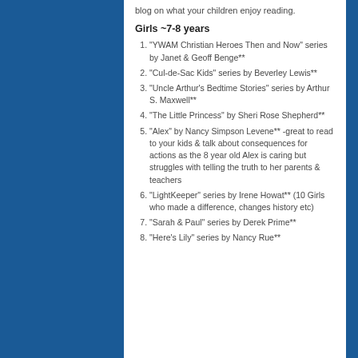blog on what your children enjoy reading.
Girls ~7-8 years
“YWAM Christian Heroes Then and Now” series by Janet & Geoff Benge**
“Cul-de-Sac Kids” series by Beverley Lewis**
“Uncle Arthur’s Bedtime Stories” series by Arthur S. Maxwell**
“The Little Princess” by Sheri Rose Shepherd**
“Alex” by Nancy Simpson Levene** -great to read to your kids & talk about consequences for actions as the 8 year old Alex is caring but struggles with telling the truth to her parents & teachers
“LightKeeper” series by Irene Howat** (10 Girls who made a difference, changes history etc)
“Sarah & Paul” series by Derek Prime**
“Here’s Lily” series by Nancy Rue**